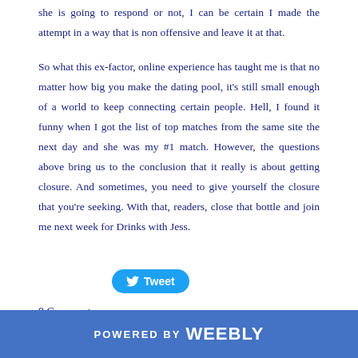she is going to respond or not, I can be certain I made the attempt in a way that is non offensive and leave it at that.
So what this ex-factor, online experience has taught me is that no matter how big you make the dating pool, it's still small enough of a world to keep connecting certain people.  Hell, I found it funny when I got the list of top matches from the same site the next day and she was my #1 match.  However, the questions above bring us to the conclusion that it really is about getting closure.  And sometimes, you need to give yourself the closure that you're seeking.  With that, readers, close that bottle and join me next week for Drinks with Jess.
[Figure (other): Tweet button with Twitter bird icon]
0 Comments
POWERED BY weebly